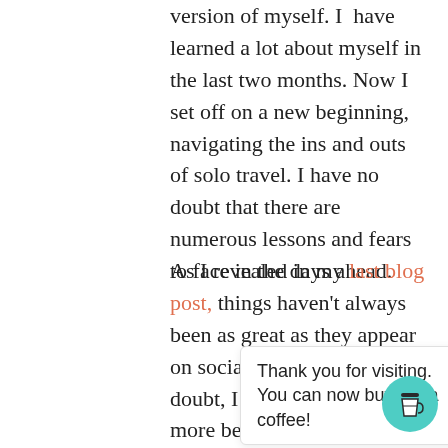version of myself. I have learned a lot about myself in the last two months. Now I set off on a new beginning, navigating the ins and outs of solo travel. I have no doubt that there are numerous lessons and fears to face in the days ahead.
As I revealed in my last blog post, things haven't always been as great as they appear on social media. Without a doubt, I have experienced more beauty and awesomeness than anyone could ask for, but it has not been without its stresses. Starting [partially obscured] on from [partially obscured] k ago [partially obscured]
Thank you for visiting. You can now buy me a coffee!